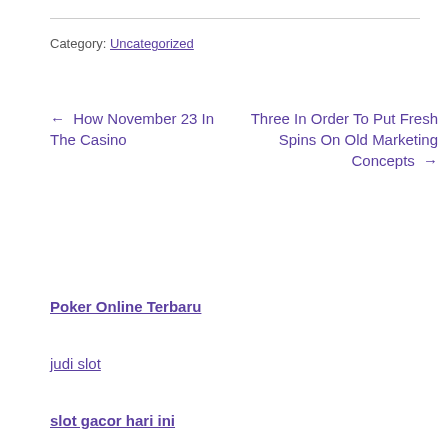Category: Uncategorized
← How November 23 In The Casino
Three In Order To Put Fresh Spins On Old Marketing Concepts →
Poker Online Terbaru
judi slot
slot gacor hari ini